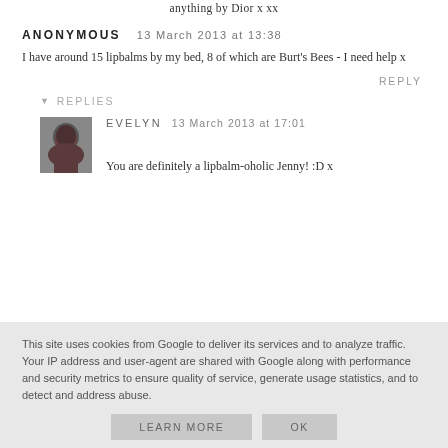anything by Dior x xx
ANONYMOUS   13 March 2013 at 13:38
I have around 15 lipbalms by my bed, 8 of which are Burt's Bees - I need help x
REPLY
▼ REPLIES
[Figure (photo): Small avatar photo of Evelyn, a woman with dark hair]
EVELYN   13 March 2013 at 17:01
You are definitely a lipbalm-oholic Jenny! :D x
This site uses cookies from Google to deliver its services and to analyze traffic. Your IP address and user-agent are shared with Google along with performance and security metrics to ensure quality of service, generate usage statistics, and to detect and address abuse.
LEARN MORE   OK